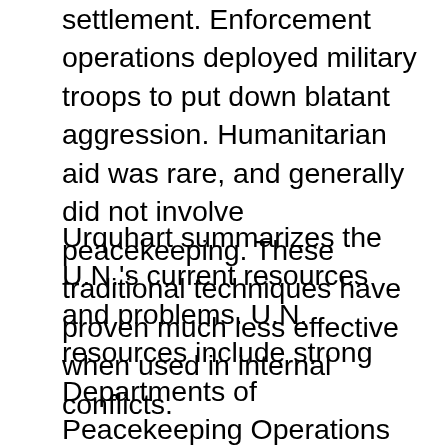settlement. Enforcement operations deployed military troops to put down blatant aggression. Humanitarian aid was rare, and generally did not involve peacekeeping. These traditional techniques have proven much less effective when used in internal conflicts.
Urquhart summarizes the U.N.'s current resources and problems. U.N. resources include strong Departments of Peacekeeping Operations and Humanitarian Affairs and a strong Secretariat. The Security Council is finally free of its Cold War limitations. Various U.N. agencies have developed considerable humanitarian expertise and the U.N. has amassed a substantial humanitarian emergency reserve fund. The U.N. has also developed ties with a number of humanitarian NGOs. Thirty-some countries hold military troops on standby for U.N. peacekeeping operations. Finally, regional international organizations offer a currently under-utilized asset.